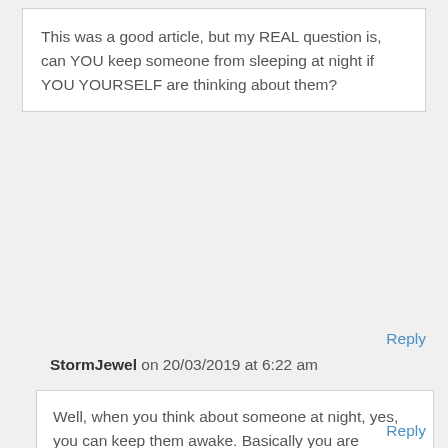This was a good article, but my REAL question is, can YOU keep someone from sleeping at night if YOU YOURSELF are thinking about them?
Reply
StormJewel on 20/03/2019 at 6:22 am
Well, when you think about someone at night, yes, you can keep them awake. Basically you are sending them vibrations and your psyche's string is pulling on theirs. So yes, you can keep someone awake if you think about them at night.
Reply